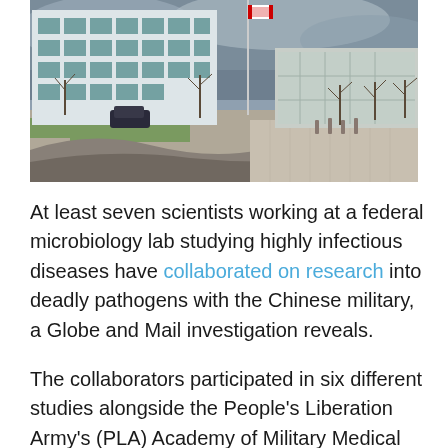[Figure (photo): Exterior photo of a federal microbiology laboratory building complex. Shows a large modern white multi-story building with green-tinted windows on the left, a glass-fronted lower building on the right, a flagpole with a Canadian flag, parking lot, bare trees, and cloudy sky.]
At least seven scientists working at a federal microbiology lab studying highly infectious diseases have collaborated on research into deadly pathogens with the Chinese military, a Globe and Mail investigation reveals.
The collaborators participated in six different studies alongside the People's Liberation Army's (PLA) Academy of Military Medical Sciences which